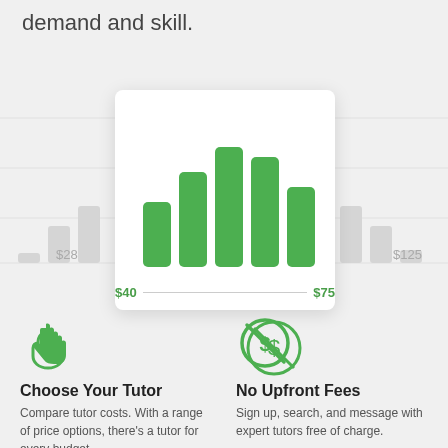demand and skill.
[Figure (bar-chart): Bar chart showing tutor price distribution with $40 and $75 labeled, green bars on white card]
$28
$40
$75
$125
[Figure (illustration): Green pointing hand/cursor icon]
Choose Your Tutor
Compare tutor costs. With a range of price options, there's a tutor for every budget.
[Figure (illustration): Green no-fee / dollar-sign crossed-out circle icon]
No Upfront Fees
Sign up, search, and message with expert tutors free of charge.